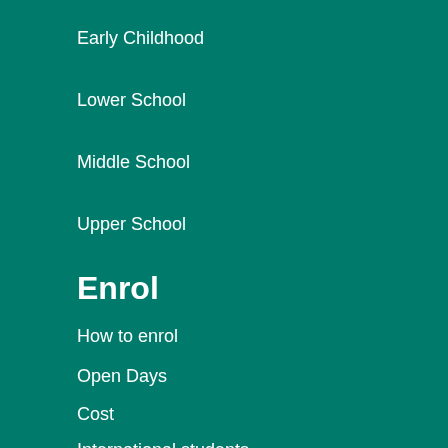Early Childhood
Lower School
Middle School
Upper School
Enrol
How to enrol
Open Days
Cost
International students
Events